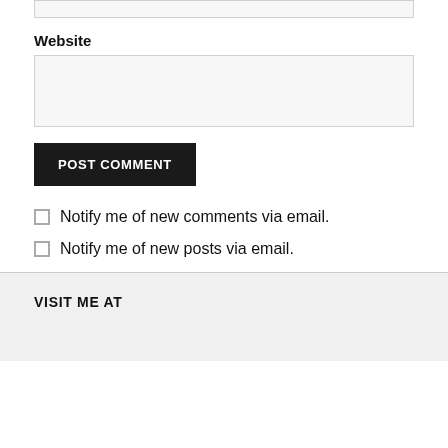Website
POST COMMENT
Notify me of new comments via email.
Notify me of new posts via email.
VISIT ME AT